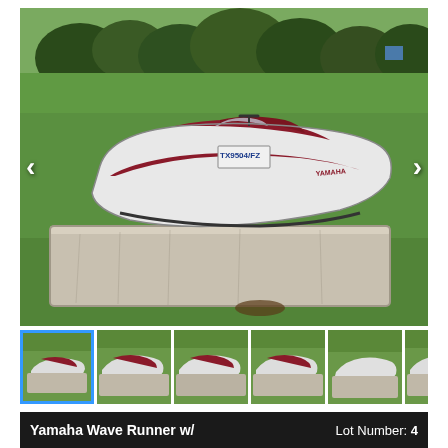[Figure (photo): Main large photo of a Yamaha Wave Runner personal watercraft with Texas license plate TX9504/FZ, red and white in color, sitting on a weathered white dock/floating platform on a green grass lawn with trees in background. Navigation arrows visible on left and right sides of image.]
[Figure (photo): Thumbnail strip showing 6 thumbnail images of the same Yamaha Wave Runner from various angles, first thumbnail highlighted with blue border.]
Yamaha Wave Runner w/
Lot Number: 4